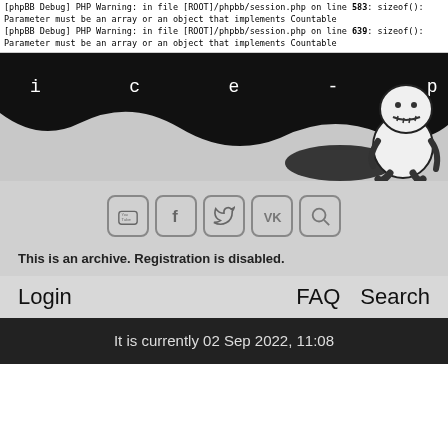[phpBB Debug] PHP Warning: in file [ROOT]/phpbb/session.php on line 583: sizeof(): Parameter must be an array or an object that implements Countable
[phpBB Debug] PHP Warning: in file [ROOT]/phpbb/session.php on line 639: sizeof(): Parameter must be an array or an object that implements Countable
[Figure (screenshot): Dark banner header with text 'ice-pick u' visible in monospace letters on black background with wave illustration and a stitched voodoo doll mascot character on the right side]
[Figure (illustration): Social media icon buttons: YouTube, Facebook, Twitter, VK, Search]
This is an archive. Registration is disabled.
Login	FAQ	Search
It is currently 02 Sep 2022, 11:08